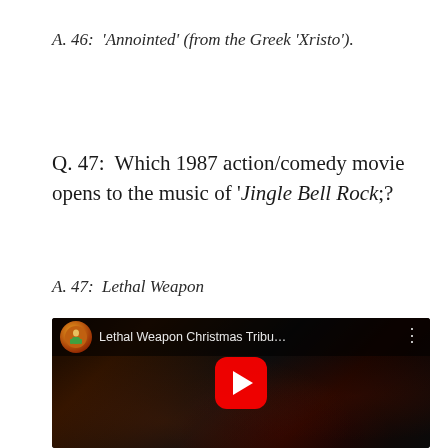A. 46:  'Annointed' (from the Greek 'Xristo').
Q. 47:  Which 1987 action/comedy movie opens to the music of 'Jingle Bell Rock;?
A. 47:  Lethal Weapon
[Figure (screenshot): YouTube video thumbnail for 'Lethal Weapon Christmas Tribu...' showing a dark, rocky scene with red tones, a channel icon with a soldier figure, and a red YouTube play button in the center.]